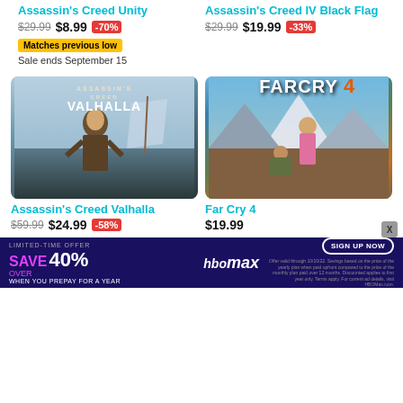Assassin's Creed Unity
$29.99  $8.99  -70%
Matches previous low
Sale ends September 15
Assassin's Creed IV Black Flag
$29.99  $19.99  -33%
[Figure (illustration): Assassin's Creed Valhalla game cover art showing a Viking warrior in front of a longship]
Assassin's Creed Valhalla
$59.99  $24.99  -58%
[Figure (illustration): Far Cry 4 game cover art showing two characters in a mountainous setting]
Far Cry 4
$19.99
[Figure (infographic): HBO Max advertisement banner: LIMITED-TIME OFFER SAVE OVER 40% WHEN YOU PREPAY FOR A YEAR. SIGN UP NOW.]